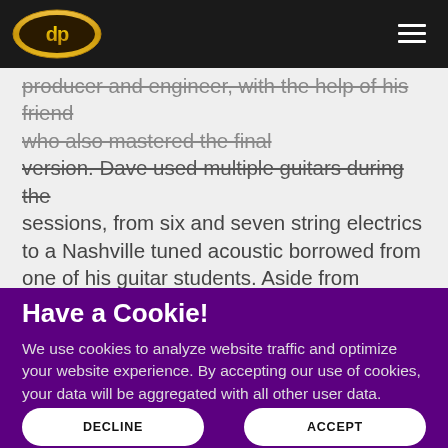Navigation bar with DP logo and hamburger menu
producer and engineer, with the help of his friend who also mastered the final version. Dave used multiple guitars during the sessions, from six and seven string electrics to a Nashville tuned acoustic borrowed from one of his guitar students. Aside from Barbe's exceptional vocals, the song features Dave's backing vocals mingled in with larger-than-life multiple tracks
Have a Cookie!
We use cookies to analyze website traffic and optimize your website experience. By accepting our use of cookies, your data will be aggregated with all other user data.
DECLINE
ACCEPT